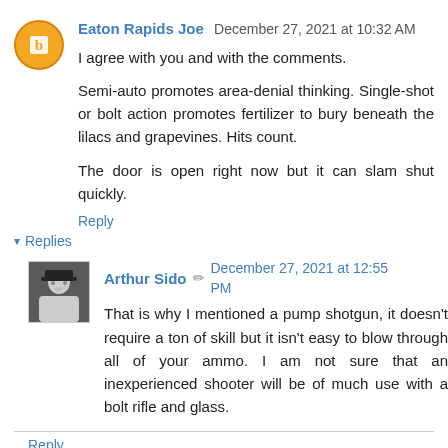Eaton Rapids Joe  December 27, 2021 at 10:32 AM
I agree with you and with the comments.
Semi-auto promotes area-denial thinking. Single-shot or bolt action promotes fertilizer to bury beneath the lilacs and grapevines. Hits count.
The door is open right now but it can slam shut quickly.
Reply
Replies
Arthur Sido  December 27, 2021 at 12:55 PM
That is why I mentioned a pump shotgun, it doesn't require a ton of skill but it isn't easy to blow through all of your ammo. I am not sure that an inexperienced shooter will be of much use with a bolt rifle and glass.
Reply